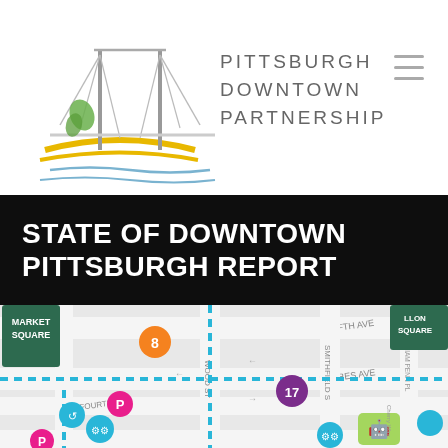[Figure (logo): Pittsburgh Downtown Partnership logo with bridge and river illustration, and text 'PITTSBURGH DOWNTOWN PARTNERSHIP']
STATE OF DOWNTOWN PITTSBURGH REPORT
[Figure (map): Downtown Pittsburgh street map showing Market Square, Mellon Square, Wood St, Fifth Ave, Forbes Ave, Fourth Ave, Smithfield St, with colored transit/bike markers including numbered circles (8, 17), bike share icons, parking icons, and a blue dashed transit route overlay]